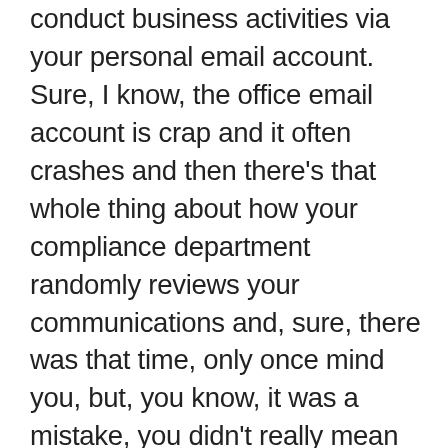conduct business activities via your personal email account. Sure, I know, the office email account is crap and it often crashes and then there's that whole thing about how your compliance department randomly reviews your communications and, sure, there was that time, only once mind you, but, you know, it was a mistake, you didn't really mean to attach that pornographic image of Santa Claus and that one elf to your Christmas message to your clients that you sent from your personal email account, but, hey, it was the night after the office party and you had a bit too much egg nog and, gee, no one has a sense of humor anymore, and, anyways, you didn't send the porn via your office email account, right? In any event, by way of spoiler alert, there's no pornography involved in today's column but we do have the